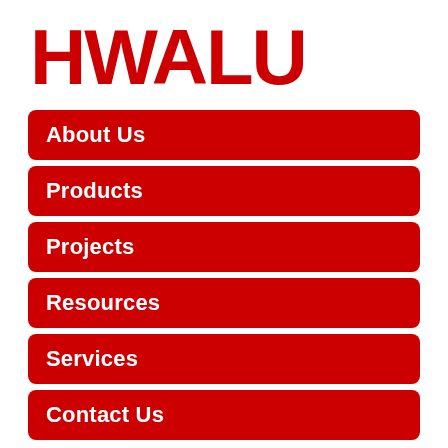[Figure (logo): HWALU company logo in bold red letters]
About Us
Products
Projects
Resources
Services
Contact Us
Home / Perforated Sheet Metal / Perforated Aluminum Sheet Metal